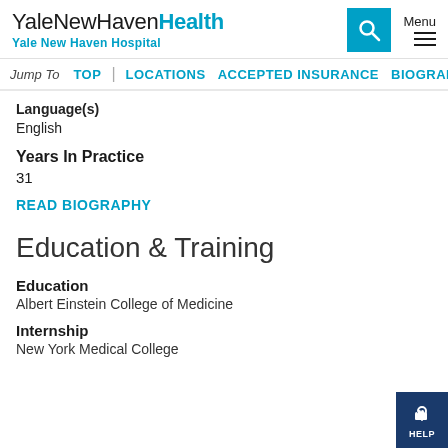YaleNewHavenHealth Yale New Haven Hospital
Jump To  TOP  |  LOCATIONS  ACCEPTED INSURANCE  BIOGRAPH...
Language(s)
English
Years In Practice
31
READ BIOGRAPHY
Education & Training
Education
Albert Einstein College of Medicine
Internship
New York Medical College